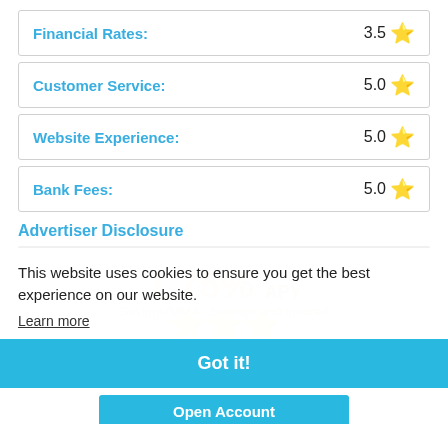| Category | Rating |
| --- | --- |
| Financial Rates: | 3.5 ★ |
| Customer Service: | 5.0 ★ |
| Website Experience: | 5.0 ★ |
| Bank Fees: | 5.0 ★ |
Advertiser Disclosure
[Figure (infographic): Advertisement banner showing 1.75% APY, Savings/MMA/Checking/Insured text, and three gold star icons]
This website uses cookies to ensure you get the best experience on our website.
Learn more
Got it!
Open Account